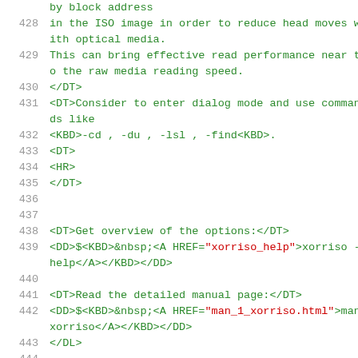by block address
428   in the ISO image in order to reduce head moves with optical media.
429   This can bring effective read performance near to the raw media reading speed.
430   </DT>
431   <DT>Consider to enter dialog mode and use commands like
432   <KBD>-cd , -du , -lsl , -find<KBD>.
433   <DT>
434   <HR>
435   </DT>
436
437
438   <DT>Get overview of the options:</DT>
439   <DD>$<KBD>&nbsp;<A HREF="xorriso_help">xorriso -help</A></KBD></DD>
440
441   <DT>Read the detailed manual page:</DT>
442   <DD>$<KBD>&nbsp;<A HREF="man_1_xorriso.html">man xorriso</A></KBD></DD>
443   </DL>
444